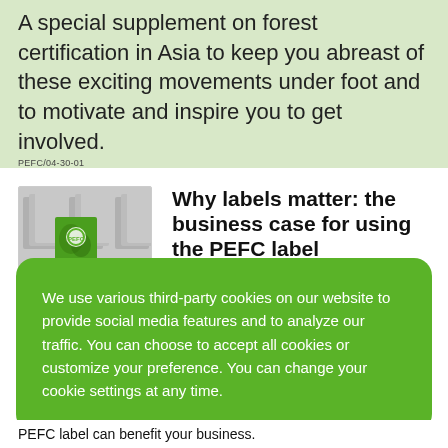A special supplement on forest certification in Asia to keep you abreast of these exciting movements under foot and to motivate and inspire you to get involved.
PEFC/04-30-01
[Figure (photo): A green PEFC-labeled box standing out among rows of plain grey boxes]
Why labels matter: the business case for using the PEFC label
We use various third-party cookies on our website to provide social media features and to analyze our traffic. You can choose to accept all cookies or customize your preference. You can change your cookie settings at any time.
Accept cookies
Cookie settings
PEFC label can benefit your business.